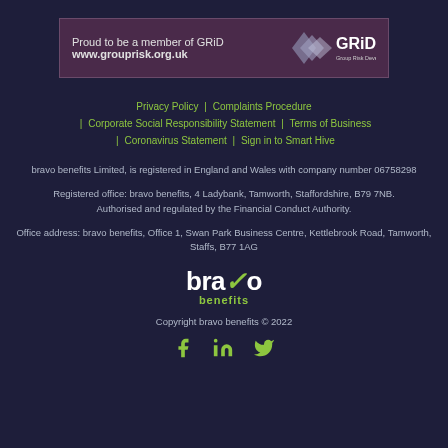[Figure (logo): GRiD membership banner — purple background, text 'Proud to be a member of GRiD' and 'www.grouprisk.org.uk', with diamond GRiD logo on right]
Privacy Policy  |  Complaints Procedure  |  Corporate Social Responsibility Statement  |  Terms of Business  |  Coronavirus Statement  |  Sign in to Smart Hive
bravo benefits Limited, is registered in England and Wales with company number 06758298
Registered office: bravo benefits, 4 Ladybank, Tamworth, Staffordshire, B79 7NB. Authorised and regulated by the Financial Conduct Authority.
Office address: bravo benefits, Office 1, Swan Park Business Centre, Kettlebrook Road, Tamworth, Staffs, B77 1AG
[Figure (logo): bravo benefits logo — white bold text 'bravo' with green italic v/checkmark, green 'benefits' text below]
Copyright bravo benefits © 2022
[Figure (illustration): Social media icons: Facebook, LinkedIn, Twitter in green]